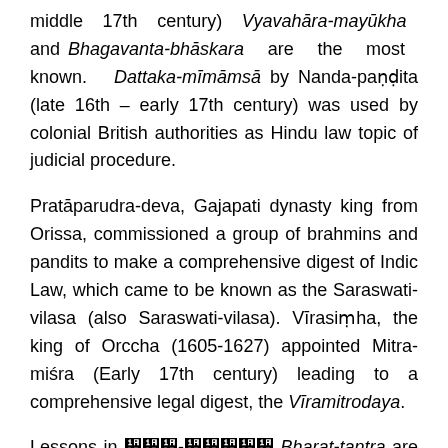middle 17th century) Vyavahāra-mayūkha and Bhagavanta-bhāskara are the most known. Dattaka-mīmāmsā by Nanda-paṇḍita (late 16th – early 17th century) was used by colonial British authorities as Hindu law topic of judicial procedure.
Pratāparudra-deva, Gajapati dynasty king from Orissa, commissioned a group of brahmins and pandits to make a comprehensive digest of Indic Law, which came to be known as the Saraswati-vilasa (also Saraswati-vilasa). Vīrasiṃha, the king of Orccha (1605-1627) appointed Mitra-miśra (Early 17th century) leading to a comprehensive legal digest, the Vīramitrodaya.
Lessons in ꩜꩜꩜-꩜꩜꩜꩜꩜ Bharat-tantra are delivered through the twenty-five Vikram and Vetal case-studies; many Buddhist Jatakas; Panchatantra and the Hitopdesa.